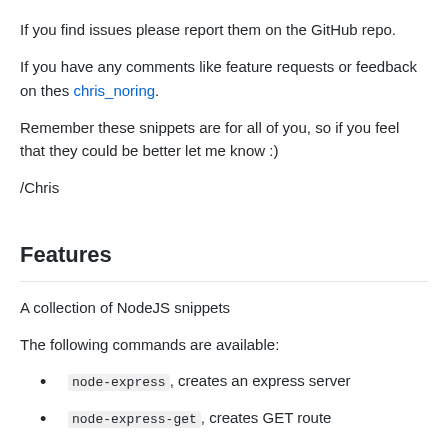If you find issues please report them on the GitHub repo.
If you have any comments like feature requests or feedback on thes chris_noring.
Remember these snippets are for all of you, so if you feel that they could be better let me know :)
/Chris
Features
A collection of NodeJS snippets
The following commands are available:
node-express, creates an express server
node-express-get, creates GET route
node-express-get-params, creates a GET route and sho